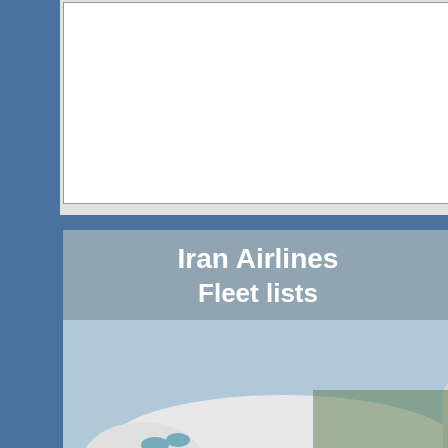Airbus A300B4-603
EP-MNK (618)
[Figure (photo): Iran Airlines Fleet lists banner image showing a large commercial aircraft (Airbus) on a runway with text overlay in English 'Iran Airlines Fleet lists' and Persian text meaning 'Fleet lists of Iranian aviation companies']